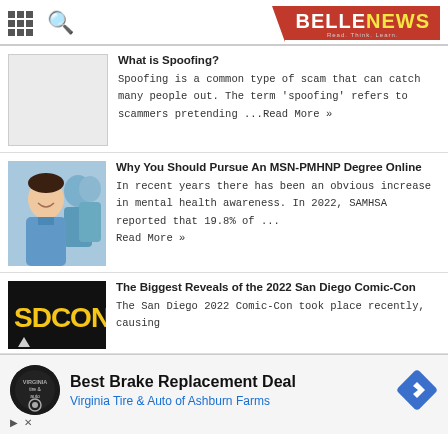BELLENEWS - Read. Think. Learn.
What is Spoofing?
Spoofing is a common type of scam that can catch many people out. The term 'spoofing' refers to scammers pretending ...Read More »
[Figure (photo): Blank placeholder image for the spoofing article]
Why You Should Pursue An MSN-PMHNP Degree Online
In recent years there has been an obvious increase in mental health awareness. In 2022, SAMHSA reported that 19.8% of ... Read More »
[Figure (photo): Photo of a smiling nurse or healthcare professional in blue scrubs with colleagues in background]
The Biggest Reveals of the 2022 San Diego Comic-Con
The San Diego 2022 Comic-Con took place recently, causing
[Figure (photo): San Diego Comic-Con logo with yellow text on black background]
Best Brake Replacement Deal
Virginia Tire & Auto of Ashburn Farms